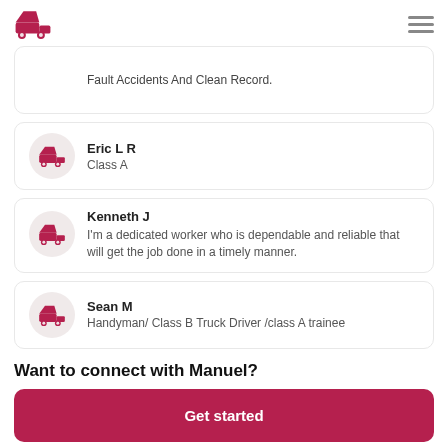Logo and navigation menu
Fault Accidents And Clean Record.
Eric L R
Class A
Kenneth J
I'm a dedicated worker who is dependable and reliable that will get the job done in a timely manner.
Sean M
Handyman/ Class B Truck Driver /class A trainee
Want to connect with Manuel?
Get started